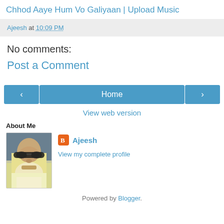Chhod Aaye Hum Vo Galiyaan | Upload Music
Ajeesh at 10:09 PM
No comments:
Post a Comment
[Figure (other): Navigation buttons: left arrow, Home button, right arrow]
View web version
About Me
[Figure (photo): Profile photo of Ajeesh wearing sunglasses]
Ajeesh
View my complete profile
Powered by Blogger.